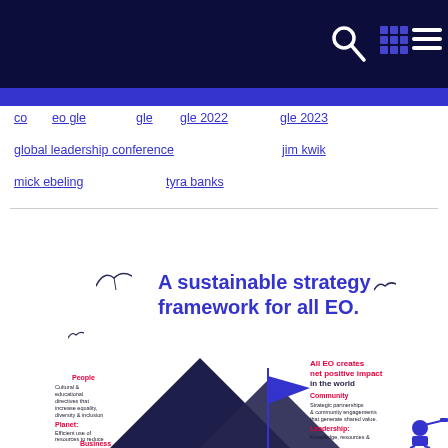Navigation bar with search, grid, and menu icons
co
eo gle
gle
gle 2022
gle 2023
global leadership conference
jim kwik
mick ebeling
tyra banks
A sustainable strategy framework for all EO.
[Figure (infographic): Infographic showing EO sustainable strategy framework with dark navy triangular/sail shapes. Labels include People (Cultural & educational directives that increase equality, diversity & inclusion), Planet (Efficient use of resources to reduce EO's environmental footprint), Business, Community (Strategic partnerships & community engagements that generate shared value), Leadership (Knowledge, resources &...). A figure of a person looking through a telescope is shown on the right. Text reads 'All EO creates net positive impact in the world'.]